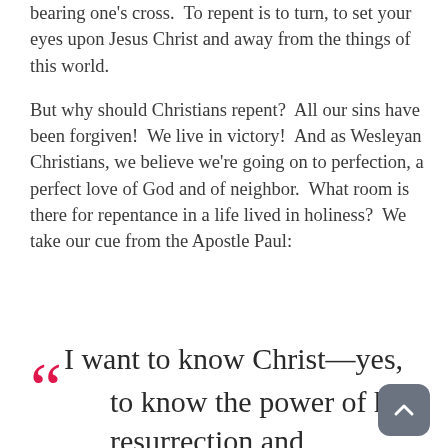bearing one's cross.  To repent is to turn, to set your eyes upon Jesus Christ and away from the things of this world.
But why should Christians repent?  All our sins have been forgiven!  We live in victory!  And as Wesleyan Christians, we believe we're going on to perfection, a perfect love of God and of neighbor.  What room is there for repentance in a life lived in holiness?  We take our cue from the Apostle Paul:
“I want to know Christ—yes, to know the power of his resurrection and participation